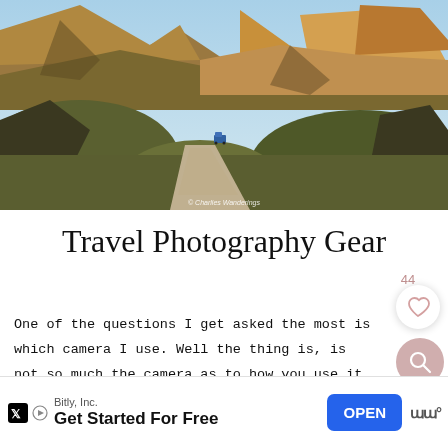[Figure (photo): Landscape mountain scene with dirt road winding through rolling hills, vehicle visible in the distance, warm golden mountains in the background under a blue sky. Copyright: Charlies Wanderings]
Travel Photography Gear
One of the questions I get asked the most is which camera I use. Well the thing is, is not so much the camera as to how you use it. These da you can also take stunning photos with your
[Figure (infographic): Like count '44' with heart icon button and search button overlay on right side]